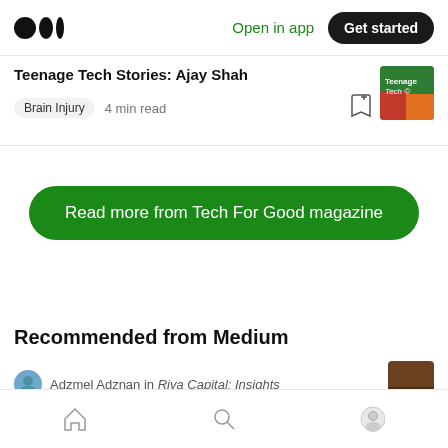Medium logo | Open in app | Get started
Teenage Tech Stories: Ajay Shah
Brain Injury  4 min read
Read more from Tech For Good magazine
Recommended from Medium
Adzmel Adznan in Riva Capital: Insights
Home | Search | Profile